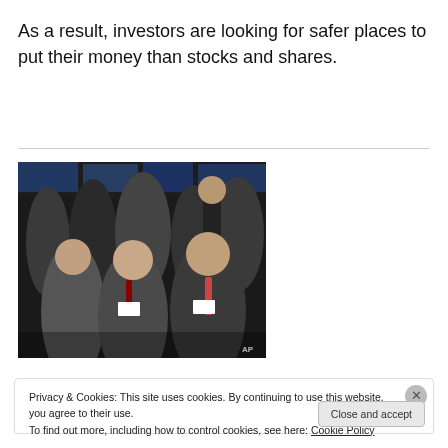As a result, investors are looking for safer places to put their money than stocks and shares.
[Figure (photo): Stock exchange trading floor with traders gesturing and crowded together, AP photo]
Privacy & Cookies: This site uses cookies. By continuing to use this website, you agree to their use.
To find out more, including how to control cookies, see here: Cookie Policy